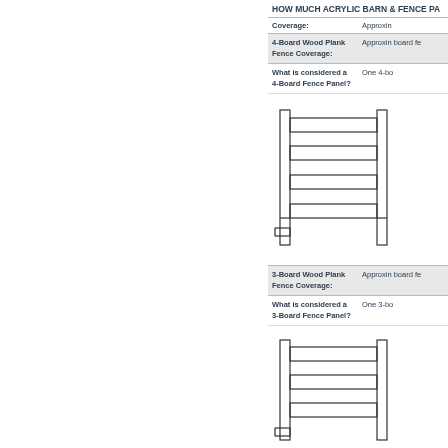HOW MUCH ACRYLIC BARN & FENCE PA
|  |  |
| --- | --- |
| Coverage: | Approxi |
| 4-Board Wood Plank Fence Coverage: | Approxin board fe |
| What is considered a 4-Board Fence Panel? | One 4-bo |
[Figure (schematic): Diagram of a 4-board wood plank fence panel showing horizontal boards and posts]
|  |  |
| --- | --- |
| 3-Board Wood Plank Fence Coverage: | Approxin board fe |
| What is considered a 3-Board Fence Panel? | One 3-bo |
[Figure (schematic): Diagram of a 3-board wood plank fence panel showing horizontal boards and posts]